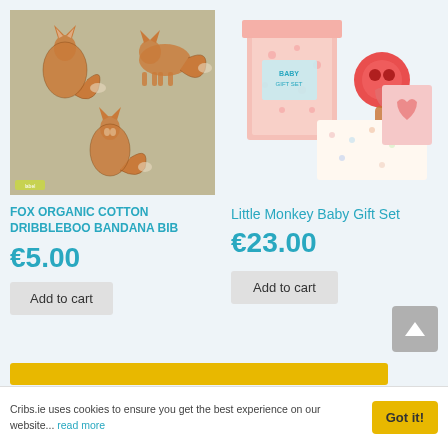[Figure (photo): Fox organic cotton bandana bib on a khaki/tan fabric with fox print pattern]
[Figure (photo): Little Monkey Baby Gift Set showing pink polka-dot box, monkey teether toy, and patterned blanket]
FOX ORGANIC COTTON DRIBBLEBOO BANDANA BIB
€5.00
Add to cart
Little Monkey Baby Gift Set
€23.00
Add to cart
Cribs.ie uses cookies to ensure you get the best experience on our website... read more
Got it!